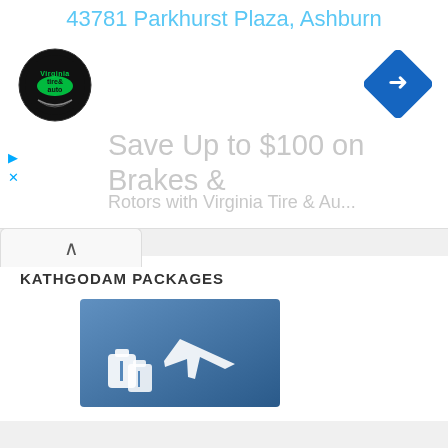43781 Parkhurst Plaza, Ashburn
[Figure (logo): Virginia Tire & Auto circular logo]
[Figure (other): Blue diamond navigation/directions icon]
Save Up to $100 on Brakes &
Need All Seasons Help?
We would be more than happy to help you. Our team advisor are at your service.
902-712-5355(40 lines)
Email: reserv@allseasonsz.com
KATHGODAM PACKAGES
[Figure (illustration): Blue travel package icon showing luggage and airplane silhouette]